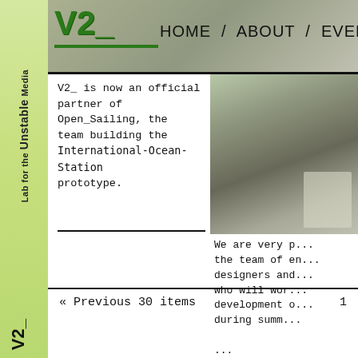V2_ | HOME / ABOUT / EVENTS /
[Figure (photo): Background header photo of people working, and right-column photo of people in a workshop setting]
V2_ is now an official partner of Open_Sailing, the team building the International-Ocean-Station prototype.
We are very p... the team of en... designers and... who will wor... development o... during summ... ...
« Previous 30 items
1